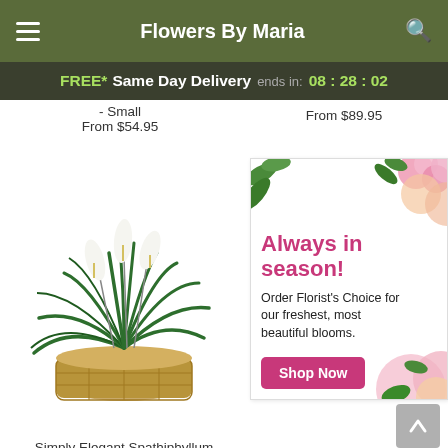Flowers By Maria
FREE* Same Day Delivery ends in: 08 : 28 : 02
- Small
From $54.95
From $89.95
[Figure (photo): Simply Elegant Spathiphyllum plant in wicker basket with white blooms and dark green leaves]
[Figure (infographic): Always in season! Order Florist's Choice for our freshest, most beautiful blooms. Shop Now button with floral background.]
Simply Elegant Spathiphyllum - Medium
From $74.95